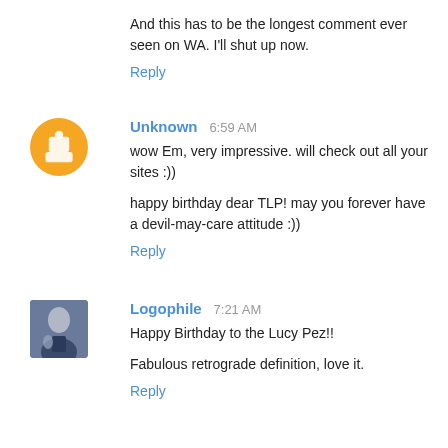And this has to be the longest comment ever seen on WA. I'll shut up now.
Reply
Unknown 6:59 AM
wow Em, very impressive. will check out all your sites :))
happy birthday dear TLP! may you forever have a devil-may-care attitude :))
Reply
[Figure (photo): Avatar photo of Logophile commenter]
Logophile 7:21 AM
Happy Birthday to the Lucy Pez!!
Fabulous retrograde definition, love it.
Reply